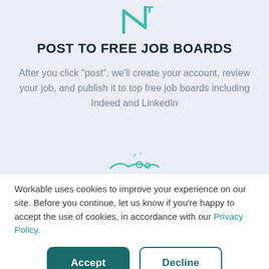[Figure (logo): Teal/cyan colored logo mark resembling stylized letter N with geometric lines at top of page]
POST TO FREE JOB BOARDS
After you click “post”, we’ll create your account, review your job, and publish it to top free job boards including Indeed and LinkedIn
[Figure (illustration): Small illustration of a sad face or character peeking up at bottom of top section]
Workable uses cookies to improve your experience on our site. Before you continue, let us know if you’re happy to accept the use of cookies, in accordance with our Privacy Policy.
Accept
Decline